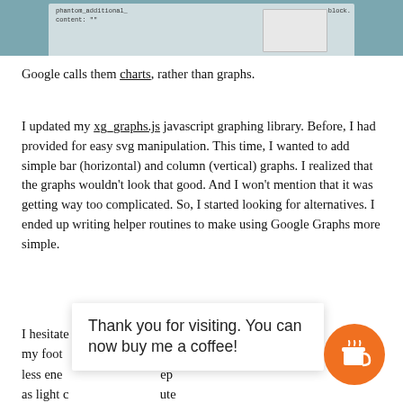[Figure (screenshot): Screenshot strip showing a teal/blue background with code text and a light gray screen/box element, partially visible at top of page]
Google calls them charts, rather than graphs.
I updated my xg_graphs.js javascript graphing library. Before, I had provided for easy svg manipulation. This time, I wanted to add simple bar (horizontal) and column (vertical) graphs. I realized that the graphs wouldn't look that good. And I won't mention that it was getting way too complicated. So, I started looking for alternatives. I ended up writing helper routines to make using Google Graphs more simple.
I hesitate [obscured by popup] e to keep my foot [obscured] and uses less ene [obscured] ep as light c [obscured] ute like the results.
Thank you for visiting. You can now buy me a coffee!